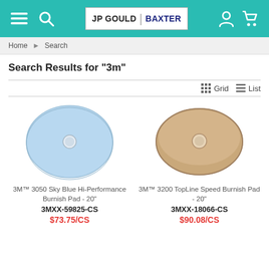JP GOULD | BAXTER
Home › Search
Search Results for "3m"
Grid   List
[Figure (photo): Blue circular burnish pad with hole in center - 3M 3050 Sky Blue Hi-Performance Burnish Pad 20 inch]
3M™ 3050 Sky Blue Hi-Performance Burnish Pad - 20"
3MXX-59825-CS
$73.75/CS
[Figure (photo): Beige/tan circular burnish pad with hole in center - 3M 3200 TopLine Speed Burnish Pad 20 inch]
3M™ 3200 TopLine Speed Burnish Pad - 20"
3MXX-18066-CS
$90.08/CS